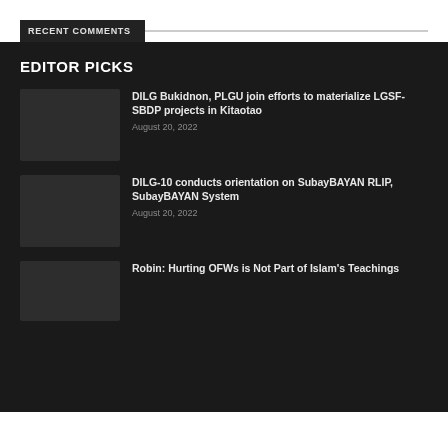RECENT COMMENTS
EDITOR PICKS
DILG Bukidnon, PLGU join efforts to materialize LGSF-SBDP projects in Kitaotao
August 20, 2022
DILG-10 conducts orientation on SubayBAYAN RLIP, SubayBAYAN System
August 20, 2022
Robin: Hurting OFWs is Not Part of Islam's Teachings